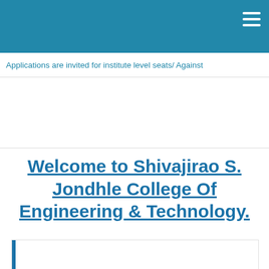Applications are invited for institute level seats/ Against
Welcome to Shivajirao S. Jondhle College Of Engineering & Technology.
[Figure (other): White content box with blue left border, partially visible at bottom of page]